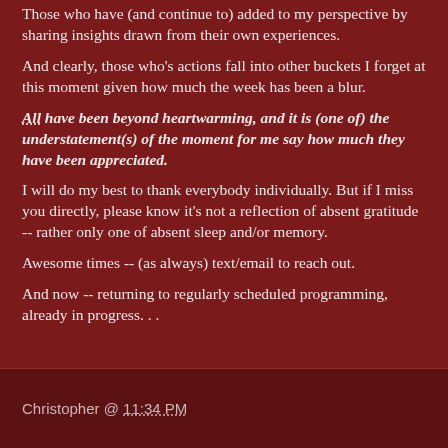Those who have (and continue to) added to my perspective by sharing insights drawn from their own experiences.
And clearly, those who's actions fall into other buckets I forget at this moment given how much the week has been a blur.
All have been beyond heartwarming, and it is (one of) the understatement(s) of the moment for me say how much they have been appreciated.
I will do my best to thank everybody individually. But if I miss you directly, please know it's not a reflection of absent gratitude -- rather only one of absent sleep and/or memory.
Awesome times -- (as always) text/email to reach out.
And now -- returning to regularly scheduled programming, already in progress. . .
Christopher @ 11:34 PM